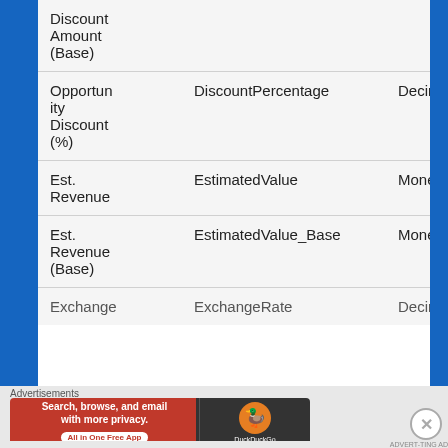| Field Label | Field Name | Data Type |  |
| --- | --- | --- | --- |
| Discount Amount (Base) |  |  |  |
| Opportunity Discount (%) | DiscountPercentage | Decimal | T |
| Est. Revenue | EstimatedValue | Money | T |
| Est. Revenue (Base) | EstimatedValue_Base | Money | FA |
| Exchange | ExchangeRate | Decimal |  |
[Figure (screenshot): DuckDuckGo advertisement banner: orange/red left portion with text 'Search, browse, and email with more privacy. All in One Free App', dark right portion with DuckDuckGo duck logo.]